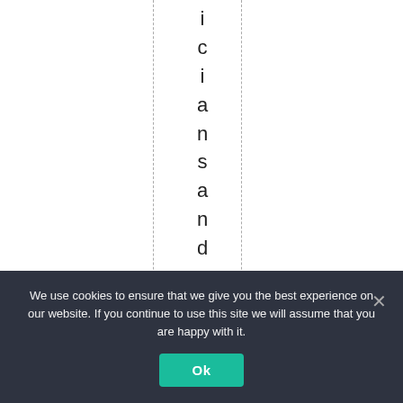iciansandnewspaper
We use cookies to ensure that we give you the best experience on our website. If you continue to use this site we will assume that you are happy with it.
Ok